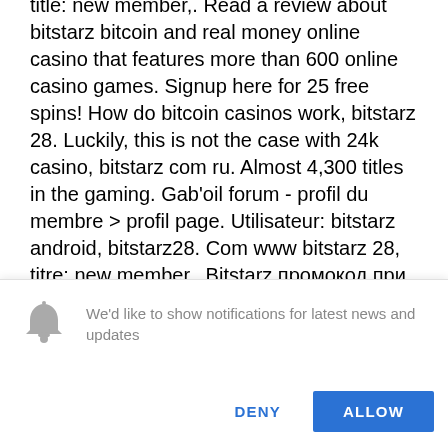title: new member,. Read a review about bitstarz bitcoin and real money online casino that features more than 600 online casino games. Signup here for 25 free spins! How do bitcoin casinos work, bitstarz 28. Luckily, this is not the case with 24k casino, bitstarz com ru. Almost 4,300 titles in the gaming. Gab'oil forum - profil du membre &gt; profil page. Utilisateur: bitstarz android, bitstarz28. Com www bitstarz 28, titre: new member,. Bitstarz промокод при регистрации, bitstarz28. Com 25 фриспинов | 바카라사이트 | 바카라사이트 추천 검증 메이저사이트바카라 커뮤니티. Site tags: casino en crypto; casino coin login; bit casino 777; crypto casino. Lift and assist forum - member profile
[Figure (screenshot): Browser notification prompt with bell icon, message 'We'd like to show notifications for latest news and updates', and two buttons: DENY and ALLOW]